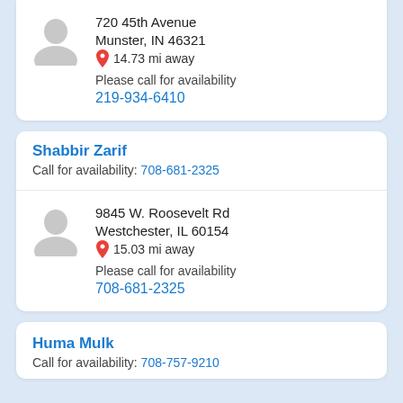720 45th Avenue
Munster, IN 46321
14.73 mi away
Please call for availability
219-934-6410
Shabbir Zarif
Call for availability: 708-681-2325
9845 W. Roosevelt Rd
Westchester, IL 60154
15.03 mi away
Please call for availability
708-681-2325
Huma Mulk
Call for availability: 708-757-9210